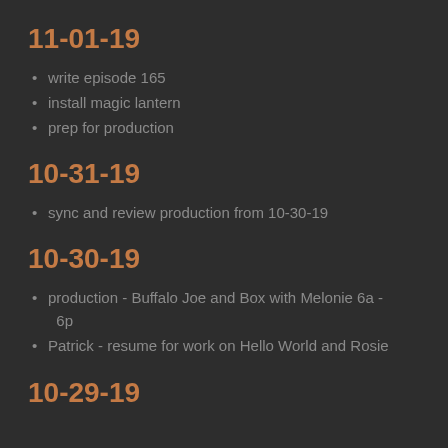11-01-19
write episode 165
install magic lantern
prep for production
10-31-19
sync and review production from 10-30-19
10-30-19
production - Buffalo Joe and Box with Melonie 6a - 6p
Patrick - resume for work on Hello World and Rosie
10-29-19